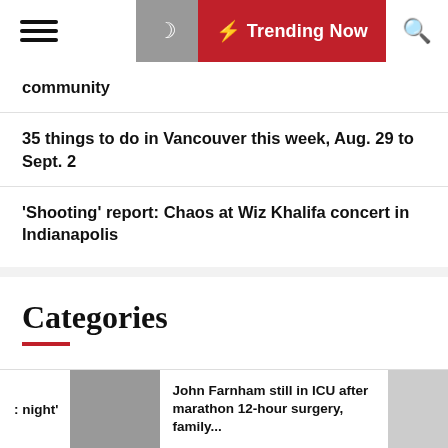Trending Now
community
35 things to do in Vancouver this week, Aug. 29 to Sept. 2
'Shooting' report: Chaos at Wiz Khalifa concert in Indianapolis
Categories
Art News
Entertainment News
: night'
John Farnham still in ICU after marathon 12-hour surgery, family...